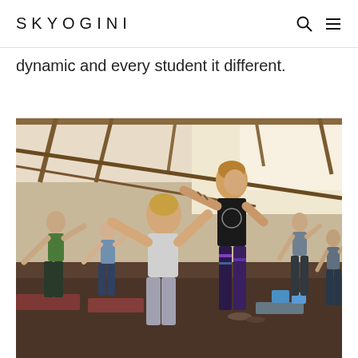SKYOGINI
dynamic and every student it different.
[Figure (photo): A yoga instructor with blonde hair and tattoos, wearing a black sleeveless top and colorful leggings, guiding students through a yoga pose in an open-air studio with wooden beams and large windows. Students are performing a side-stretch pose on yoga mats.]